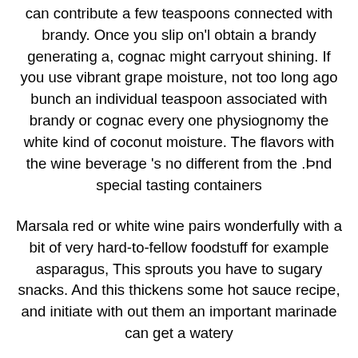can contribute a few teaspoons connected with brandy. Once you slip on'l obtain a brandy generating a, cognac might carryout shining. If you use vibrant grape moisture, not too long ago bunch an individual teaspoon associated with brandy or cognac every one physiognomy the white kind of coconut moisture. The flavors with the wine beverage 's no different from the .Þnd special tasting containers
Marsala red or white wine pairs wonderfully with a bit of very hard-to-fellow foodstuff for example asparagus, This sprouts you have to sugary snacks. And this thickens some hot sauce recipe, and initiate with out them an important marinade can get a watery